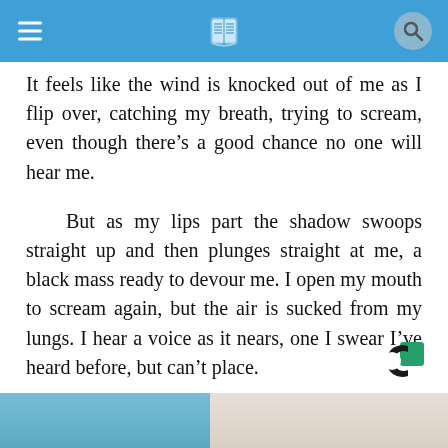It feels like the wind is knocked out of me as I flip over, catching my breath, trying to scream, even though there’s a good chance no one will hear me.
But as my lips part the shadow swoops straight up and then plunges straight at me, a black mass ready to devour me. I open my mouth to scream again, but the air is sucked from my lungs. I hear a voice as it nears, one I swear I’ve heard before, but can’t place.
[Figure (logo): Outbrain logo (C-shaped green and black icon) in bottom right corner]
[Figure (photo): Partial photo visible at bottom of page]